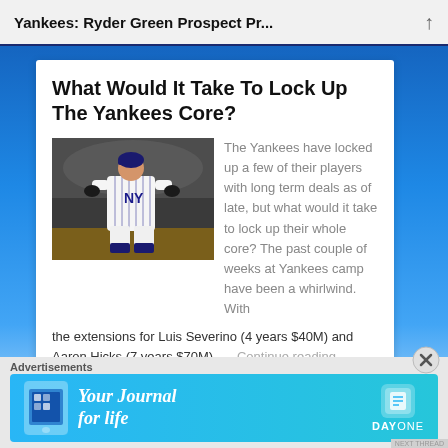Yankees: Ryder Green Prospect Pr...
What Would It Take To Lock Up The Yankees Core?
[Figure (photo): Baseball player in New York Yankees pinstripe uniform jogging on field]
The Yankees have locked up a few of their players with long term deals as of late, but what would it take to lock up their whole core? The past couple of weeks at Yankees camp have been a whirlwind. With the extensions for Luis Severino (4 years $40M) and Aaron Hicks (7 years $70M), … Continue reading
Advertisements
[Figure (infographic): Day One app advertisement banner — Your Journal for life]